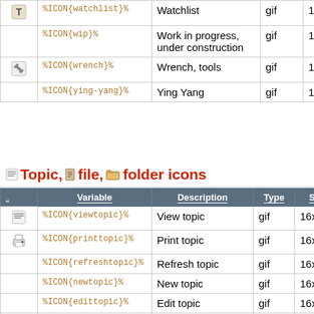|  | Variable | Description | Type | Size |
| --- | --- | --- | --- | --- |
| [T icon] | %ICON{watchlist}% | Watchlist | gif | 16x16 |
|  | %ICON{wip}% | Work in progress, under construction | gif | 16x16 |
| [wrench] | %ICON{wrench}% | Wrench, tools | gif | 16x16 |
|  | %ICON{ying-yang}% | Ying Yang | gif | 16x16 |
Topic, file, folder icons
|  | Variable | Description | Type | Size | Alias |
| --- | --- | --- | --- | --- | --- |
| [viewtopic] | %ICON{viewtopic}% | View topic | gif | 16x16 |  |
| [print] | %ICON{printtopic}% | Print topic | gif | 16x16 |  |
|  | %ICON{refreshtopic}% | Refresh topic | gif | 16x16 |  |
|  | %ICON{newtopic}% | New topic | gif | 16x16 |  |
|  | %ICON{edittopic}% | Edit topic | gif | 16x16 |  |
|  | %ICON{save}% | Save | gif | 16x16 |  |